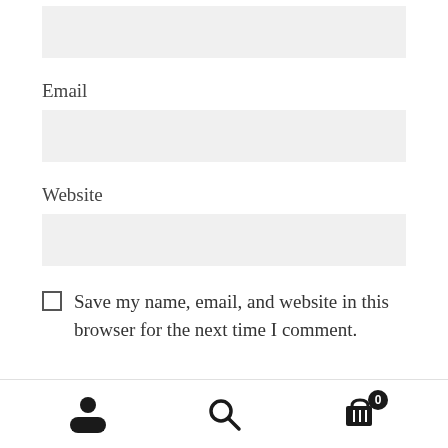[Figure (screenshot): Empty text input field with light gray background (top, partial)]
Email
[Figure (screenshot): Empty email input field with light gray background]
Website
[Figure (screenshot): Empty website input field with light gray background]
Save my name, email, and website in this browser for the next time I comment.
[Figure (screenshot): Bottom navigation bar with user icon, search icon, and cart icon with badge showing 0]